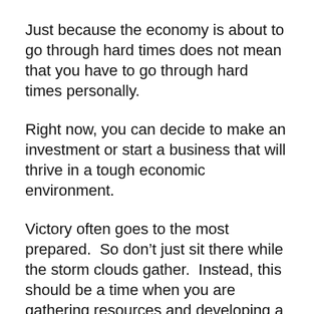Just because the economy is about to go through hard times does not mean that you have to go through hard times personally.
Right now, you can decide to make an investment or start a business that will thrive in a tough economic environment.
Victory often goes to the most prepared.  So don’t just sit there while the storm clouds gather.  Instead, this should be a time when you are gathering resources and developing a gameplan for the coming economic chaos.
Those that choose to have blind faith in “the system” are going to be tremendously disappointed in the years ahead.  Just because